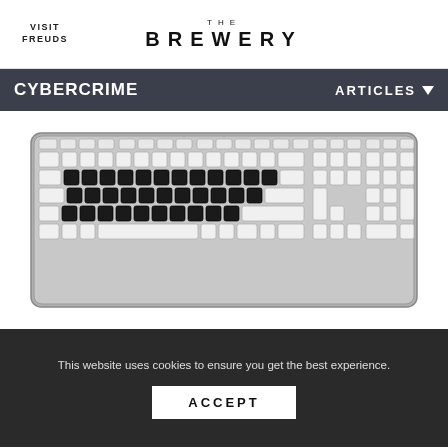VISIT FREUDS | THE BREWERY
CYBERCRIME
ARTICLES
[Figure (photo): A full-size computer keyboard with white keys and black keycaps on the main letter rows, shown on a light gray background.]
This website uses cookies to ensure you get the best experience. ACCEPT